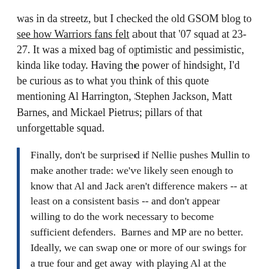was in da streetz, but I checked the old GSOM blog to see how Warriors fans felt about that '07 squad at 23-27. It was a mixed bag of optimistic and pessimistic, kinda like today. Having the power of hindsight, I'd be curious as to what you think of this quote mentioning Al Harrington, Stephen Jackson, Matt Barnes, and Mickael Pietrus; pillars of that unforgettable squad.
Finally, don't be surprised if Nellie pushes Mullin to make another trade: we've likely seen enough to know that Al and Jack aren't difference makers -- at least on a consistent basis -- and don't appear willing to do the work necessary to become sufficient defenders.  Barnes and MP are no better.  Ideally, we can swap one or more of our swings for a true four and get away with playing Al at the three, where his defensive weaknesses can be more easily masked.